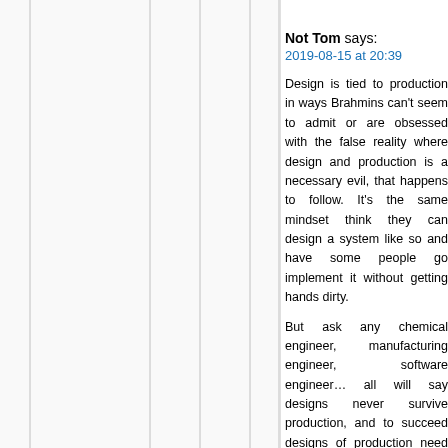Not Tom says:
2019-08-15 at 20:39
Design is tied to production in ways Brahmins can't seem to admit or are obsessed with the false reality where design and production is a necessary evil, that happens to follow. It's the same mindset think they can design a system like so and have some people go implement it without getting hands dirty.
But ask any chemical engineer, manufacturing engineer, software engineer… all will say designs never survive production, and to succeed designs of production need to constantly be fed back. I guess: nuclear and aerospace technology is extremely finicky in regard to production details, which is why the U.S. has lots its edge; there was a ton of tribal knowledge in those manufacturing areas not and maybe could not be transferred.
Western elites think they can just design and ship to the third world. Volkswagens are "designed" in Mexico. Almost all of our computing is designed in Japan or South Korea... then manufactured in Mexico. Our designers no longer have any contact with any of the valuable lessons of production.